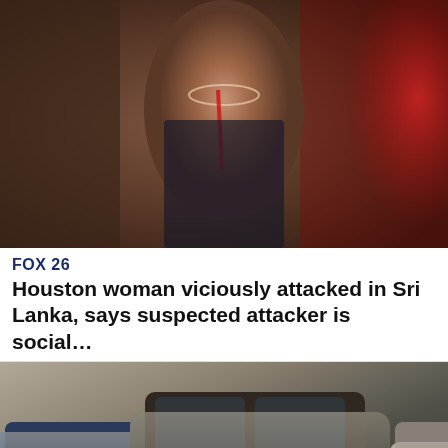[Figure (photo): Woman with apparent injuries, wearing necklace, dark background]
FOX 26
Houston woman viciously attacked in Sri Lanka, says suspected attacker is social…
[Figure (photo): Several dust-covered luxury SUV and cars including Audi Q7 and BMW X5 parked in a storage area]